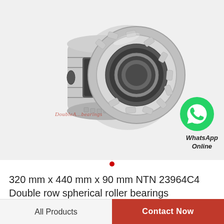[Figure (photo): Double row spherical roller bearing (NTN 23964C4), silver metallic, shown from a slight angle revealing the inner and outer rings with cylindrical rollers arranged in two rows. Product watermark 'DoubleA....bearings' visible.]
WhatsApp Online
320 mm x 440 mm x 90 mm NTN 23964C4 Double row spherical roller bearings
All Products
Contact Now